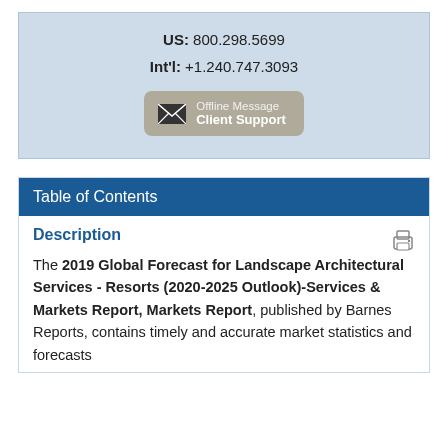US: 800.298.5699
Int'l: +1.240.747.3093
[Figure (other): Offline Message Client Support button with envelope icon]
Table of Contents
Description
The 2019 Global Forecast for Landscape Architectural Services - Resorts (2020-2025 Outlook)-Services & Markets Report, Markets Report, published by Barnes Reports, contains timely and accurate market statistics and forecasts